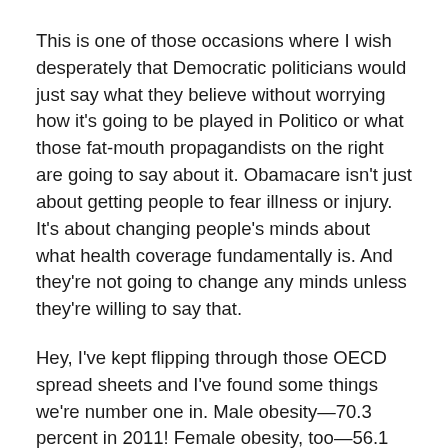This is one of those occasions where I wish desperately that Democratic politicians would just say what they believe without worrying how it's going to be played in Politico or what those fat-mouth propagandists on the right are going to say about it. Obamacare isn't just about getting people to fear illness or injury. It's about changing people's minds about what health coverage fundamentally is. And they're not going to change any minds unless they're willing to say that.
Hey, I've kept flipping through those OECD spread sheets and I've found some things we're number one in. Male obesity—70.3 percent in 2011! Female obesity, too—56.1 percent! Infant mortality rate of 6.1 per 1,000 live births! Okay, we trail Mexico and Turkey there, but still. Income inequality—well, thank God for Turkey, Mexico, and Chile.